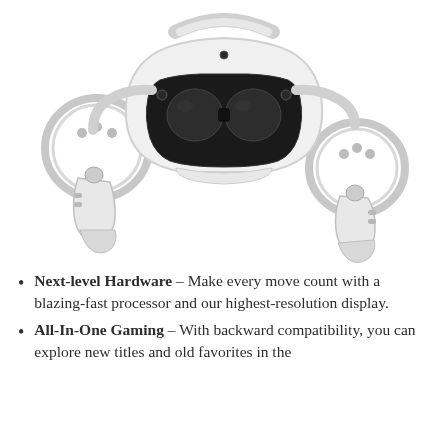[Figure (photo): Product photo of a white Meta Quest 2 VR headset with two white Touch controllers (left and right), shown on a white background. The headset is centered and elevated, with the left controller to its lower left and the right controller to its lower right.]
Next-level Hardware – Make every move count with a blazing-fast processor and our highest-resolution display.
All-In-One Gaming – With backward compatibility, you can explore new titles and old favorites in the